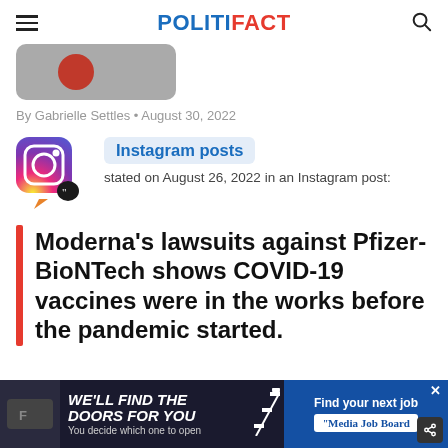POLITIFACT
[Figure (screenshot): Partial screenshot showing top of a phone/tablet with a red circle icon on grey background]
By Gabrielle Settles • August 30, 2022
[Figure (logo): Instagram logo icon with quote bubble]
Instagram posts stated on August 26, 2022 in an Instagram post:
Moderna's lawsuits against Pfizer-BioNTech shows COVID-19 vaccines were in the works before the pandemic started.
[Figure (screenshot): Advertisement banner: WE'LL FIND THE DOORS FOR YOU / You decide which one to open | Find your next job / Media Job Board]